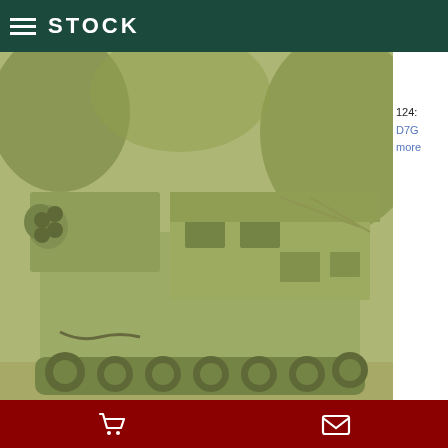STOCK
[Figure (photo): Green-tinted photo of a tracked military armored vehicle (appears to be an M270 MLRS or similar launcher) parked in a wooded area, viewed from the front-left angle.]
124:
D7G
more
EX MOD VEHICLES, CARS & EQUIPMENT
2015-11-23
ARCHIVE NEWS
[Figure (photo): Green-tinted photo of a large military truck with an open cab and covered cargo bed, viewed from the front-right angle in a wooded area.]
123:
YouT